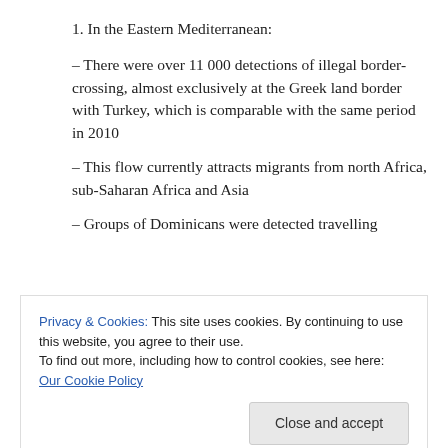1. In the Eastern Mediterranean:
– There were over 11 000 detections of illegal border-crossing, almost exclusively at the Greek land border with Turkey, which is comparable with the same period in 2010
– This flow currently attracts migrants from north Africa, sub-Saharan Africa and Asia
– Groups of Dominicans were detected travelling
Privacy & Cookies: This site uses cookies. By continuing to use this website, you agree to their use.
To find out more, including how to control cookies, see here: Our Cookie Policy
Western Balkans, (ii) false documents on flights to